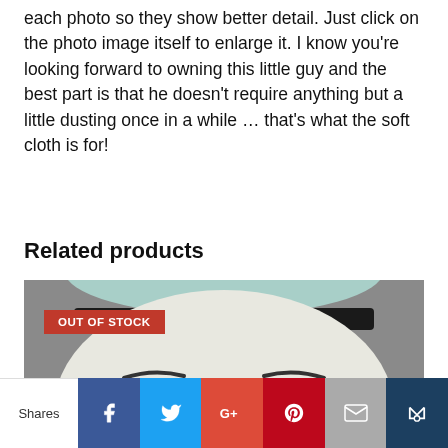each photo so they show better detail. Just click on the photo image itself to enlarge it. I know you're looking forward to owning this little guy and the best part is that he doesn't require anything but a little dusting once in a while … that's what the soft cloth is for!
Related products
[Figure (photo): Close-up photo of a ceramic figurine face with a white rounded head, black brim hat, simple curved eyebrows and closed eyes smile, with an OUT OF STOCK red badge overlay]
Shares